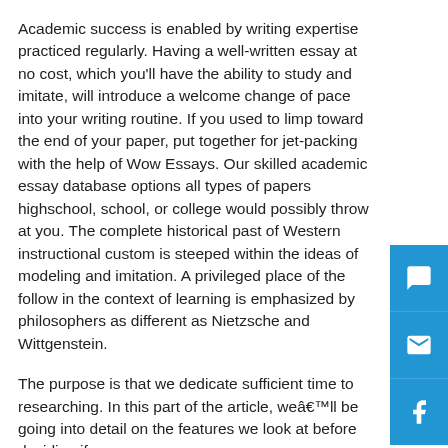Academic success is enabled by writing expertise practiced regularly. Having a well-written essay at no cost, which you'll have the ability to study and imitate, will introduce a welcome change of pace into your writing routine. If you used to limp toward the end of your paper, put together for jet-packing with the help of Wow Essays. Our skilled academic essay database options all types of papers highschool, school, or college would possibly throw at you. The complete historical past of Western instructional custom is steeped within the ideas of modeling and imitation. A privileged place of the follow in the context of learning is emphasized by philosophers as different as Nietzsche and Wittgenstein.
The purpose is that we dedicate sufficient time to researching. In this part of the article, we'll be going into detail on the features we look at before deciding if an essay https://politicsofpromotionbook.com/wp-content/thesis/skins/mobile-first/images/press_kit.pdf service is good sufficient for our readers to use. When you order your essay at our service, we are going to offer the most inexpensive rates for students on a good price.